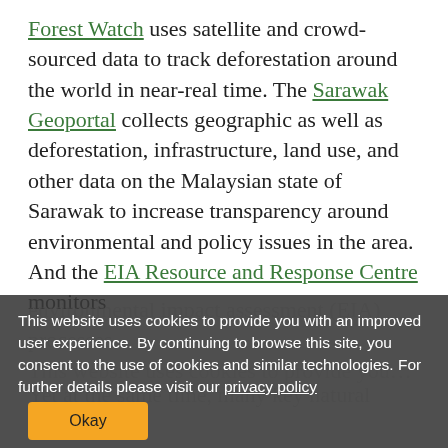Forest Watch uses satellite and crowd-sourced data to track deforestation around the world in near-real time. The Sarawak Geoportal collects geographic as well as deforestation, infrastructure, land use, and other data on the Malaysian state of Sarawak to increase transparency around environmental and policy issues in the area. And the EIA Resource and Response Centre monitors
environmental impact assessment (EIA) processes
This website uses cookies to provide you with an improved user experience. By continuing to browse this site, you consent to the use of cookies and similar technologies. For further details please visit our privacy policy
Okay
Yet at the same time, many key natural resource
such as indigenous communities and civil society groups—often struggle to utilize these